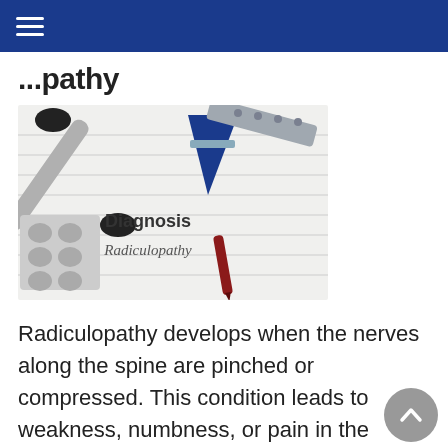Radiculopathy
[Figure (photo): Medical diagnosis image showing a reflex hammer, blue triangular percussion hammer, pills blister pack, and a red pen on a lined paper with 'Diagnosis' printed and 'Radiculopathy' written in cursive handwriting.]
Radiculopathy develops when the nerves along the spine are pinched or compressed. This condition leads to weakness, numbness, or pain in the affected body part associated with the pinched nerve. There are many ways to